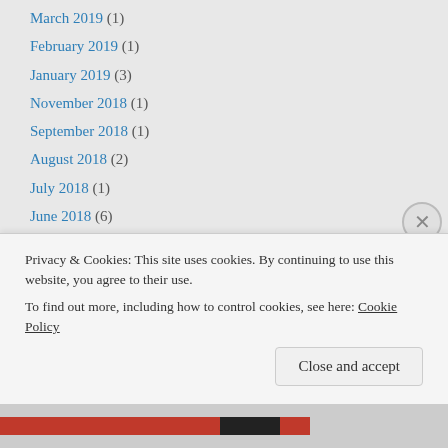March 2019 (1)
February 2019 (1)
January 2019 (3)
November 2018 (1)
September 2018 (1)
August 2018 (2)
July 2018 (1)
June 2018 (6)
May 2018 (6)
April 2018 (1)
March 2018 (4)
February 2018 (2)
January 2018 (2)
October 2017 (1)
Privacy & Cookies: This site uses cookies. By continuing to use this website, you agree to their use. To find out more, including how to control cookies, see here: Cookie Policy
Close and accept